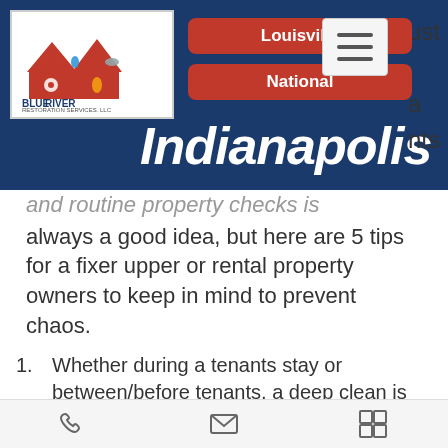[Figure (logo): Blue River Restoration Services LLC logo with house icons]
Louisville
National
Indianapolis
and routine property checks is always a good idea, but here are 5 tips for a fixer upper or rental property owners to keep in mind to prevent chaos.
Whether during a tenants stay or between/before tenants, a deep clean is always a good idea. Whether because of pets, odors, or any type of smell, a
Phone | Email | Menu icons